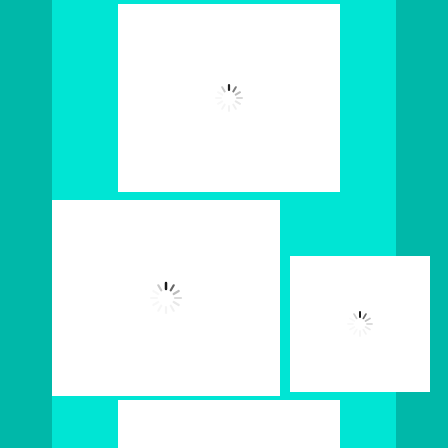[Figure (other): A layout of white rectangular panels on a cyan/teal background with teal side borders. Three panels contain spinning loading indicator icons (circular spinners with dark and light dashes). Top panel centered upper area, mid-left large panel, mid-right smaller panel, and a partial bottom panel all on bright cyan background with darker teal side strips.]
[Figure (other): Loading spinner icon in top white panel]
[Figure (other): Loading spinner icon in middle-left white panel]
[Figure (other): Loading spinner icon in middle-right white panel]